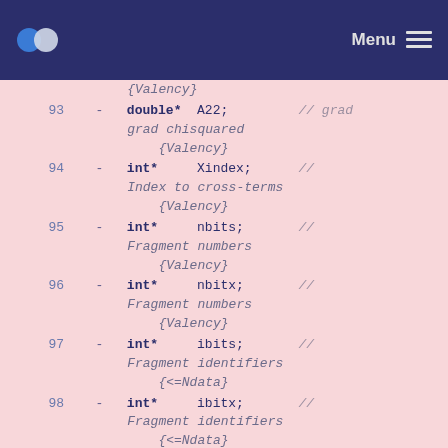Menu
Code listing showing C++ struct members:
93: double* A22; // grad grad chisquared {Valency}
94: int* Xindex; // Index to cross-terms {Valency}
95: int* nbits; // Fragment numbers {Valency}
96: int* nbitx; // Fragment numbers {Valency}
97: int* ibits; // Fragment identifiers {<=Ndata}
98: int* ibitx; // Fragment identifiers {<=Ndata}
99: double* zbits; // Fragment quantities